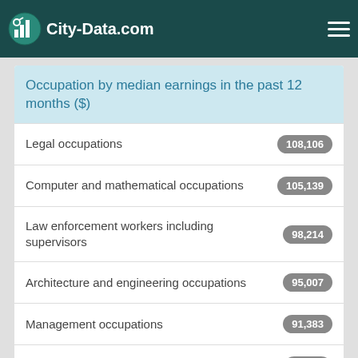City-Data.com
Occupation by median earnings in the past 12 months ($)
Legal occupations — 108,106
Computer and mathematical occupations — 105,139
Law enforcement workers including supervisors — 98,214
Architecture and engineering occupations — 95,007
Management occupations — 91,383
Life, physical, and social science occupations